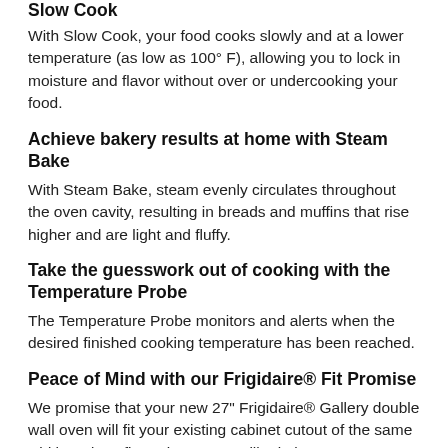Slow Cook
With Slow Cook, your food cooks slowly and at a lower temperature (as low as 100° F), allowing you to lock in moisture and flavor without over or undercooking your food.
Achieve bakery results at home with Steam Bake
With Steam Bake, steam evenly circulates throughout the oven cavity, resulting in breads and muffins that rise higher and are light and fluffy.
Take the guesswork out of cooking with the Temperature Probe
The Temperature Probe monitors and alerts when the desired finished cooking temperature has been reached.
Peace of Mind with our Frigidaire® Fit Promise
We promise that your new 27" Frigidaire® Gallery double wall oven will fit your existing cabinet cutout of the same width and configuration, or we will reimburse you up to $300 for cabinet modification costs. * Up to three hundred dollars via mail-in rebate. See https://www.frigidairefitpromise.com for additional